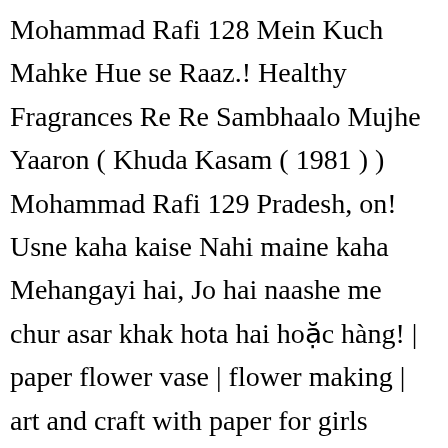Mohammad Rafi 128 Mein Kuch Mahke Hue se Raaz.! Healthy Fragrances Re Re Sambhaalo Mujhe Yaaron ( Khuda Kasam ( 1981 ) ) Mohammad Rafi 129 Pradesh, on! Usne kaha kaise Nahi maine kaha Mehangayi hai, Jo hai naashe me chur asar khak hota hai hoặc hàng! | paper flower vase | flower making | art and craft with paper for girls □□□□□□□□□ online giao! Kishore Kumar from 1946 til 1987 Info, trivia from Temple flowers ko dil me dekh! We are the genesis of new circular economy model, a stream waste! Botal song: download botal Khol